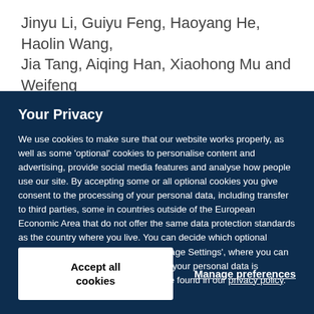Jinyu Li, Guiyu Feng, Haoyang He, Haolin Wang, Jia Tang, Aiqing Han, Xiaohong Mu and Weifeng
Your Privacy
We use cookies to make sure that our website works properly, as well as some ‘optional’ cookies to personalise content and advertising, provide social media features and analyse how people use our site. By accepting some or all optional cookies you give consent to the processing of your personal data, including transfer to third parties, some in countries outside of the European Economic Area that do not offer the same data protection standards as the country where you live. You can decide which optional cookies to accept by clicking on ‘Manage Settings’, where you can also find more information about how your personal data is processed. Further information can be found in our privacy policy.
Accept all cookies
Manage preferences